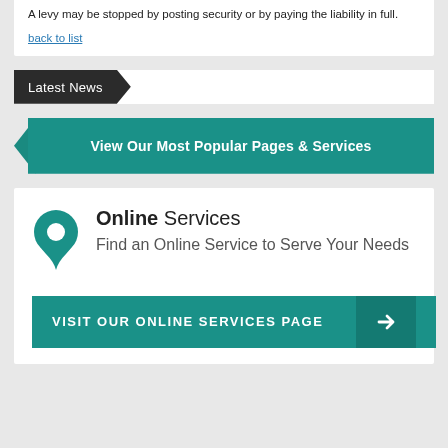A levy may be stopped by posting security or by paying the liability in full.
back to list
Latest News
View Our Most Popular Pages & Services
Online Services
Find an Online Service to Serve Your Needs
VISIT OUR ONLINE SERVICES PAGE